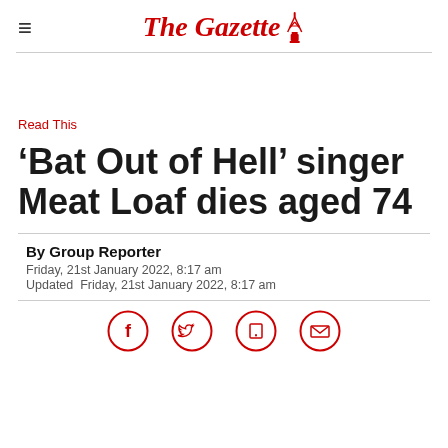The Gazette
Read This
'Bat Out of Hell' singer Meat Loaf dies aged 74
By Group Reporter
Friday, 21st January 2022, 8:17 am
Updated  Friday, 21st January 2022, 8:17 am
[Figure (illustration): Social media share icons: Facebook, Twitter, phone/message, email — red outlines in circles]